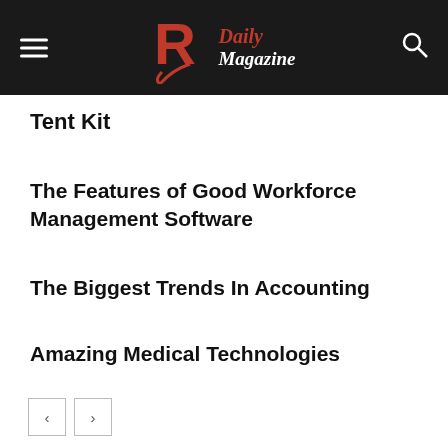R Daily Magazine
Tent Kit
The Features of Good Workforce Management Software
The Biggest Trends In Accounting
Amazing Medical Technologies